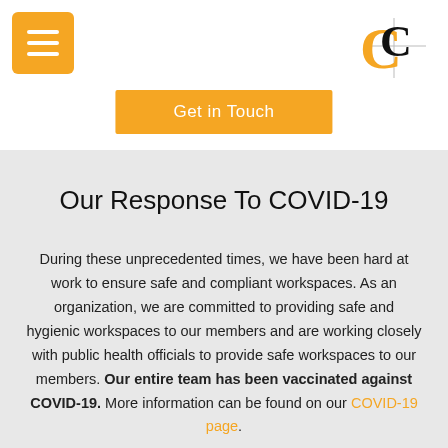[Figure (logo): Hamburger menu icon (orange square with three white horizontal lines) in top-left corner]
[Figure (logo): CC logo in top-right corner, stylized black and orange letters CC with a grid/cross overlay]
Get in Touch
Our Response To COVID-19
During these unprecedented times, we have been hard at work to ensure safe and compliant workspaces. As an organization, we are committed to providing safe and hygienic workspaces to our members and are working closely with public health officials to provide safe workspaces to our members. Our entire team has been vaccinated against COVID-19. More information can be found on our COVID-19 page.